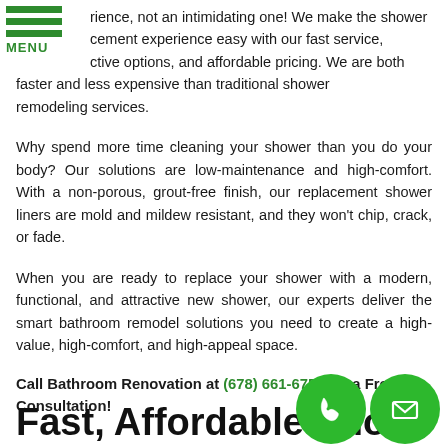[Figure (logo): Green hamburger menu icon with three horizontal bars and 'MENU' text below in green]
rience, not an intimidating one! We make the shower cement experience easy with our fast service, ctive options, and affordable pricing. We are both faster and less expensive than traditional shower remodeling services.
Why spend more time cleaning your shower than you do your body? Our solutions are low-maintenance and high-comfort. With a non-porous, grout-free finish, our replacement shower liners are mold and mildew resistant, and they won't chip, crack, or fade.
When you are ready to replace your shower with a modern, functional, and attractive new shower, our experts deliver the smart bathroom remodel solutions you need to create a high-value, high-comfort, and high-appeal space.
Call Bathroom Renovation at (678) 661-6754 for a Free Consultation!
Fast, Affordable Sho…
[Figure (illustration): Two green circular icons: a phone handset icon and an email/envelope icon]